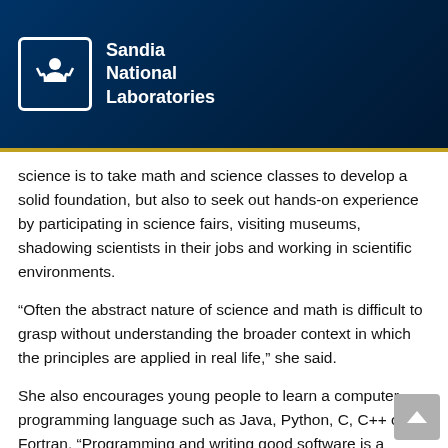Sandia National Laboratories
science is to take math and science classes to develop a solid foundation, but also to seek out hands-on experience by participating in science fairs, visiting museums, shadowing scientists in their jobs and working in scientific environments.
“Often the abstract nature of science and math is difficult to grasp without understanding the broader context in which the principles are applied in real life,” she said.
She also encourages young people to learn a computer programming language such as Java, Python, C, C++ or Fortran. “Programming and writing good software is a necessary craft in the modern IT world we live in,” she said. “It’s also easier to learn, just as with German or French, at a young age. Computation, whether performed on a laptop, a Beowulf cluster or even the newest